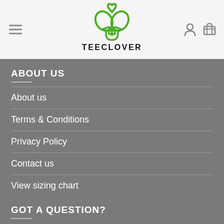[Figure (logo): TEECLOVER logo: green clover/shamrock with heart on top and t-shirt shape, with bold black TEECLOVER text beneath]
ABOUT US
About us
Terms & Conditions
Privacy Policy
Contact us
View sizing chart
GOT A QUESTION?
Email: jeepremium@gmail.com
Factory address and shipping/returns: 118-A Cass Street